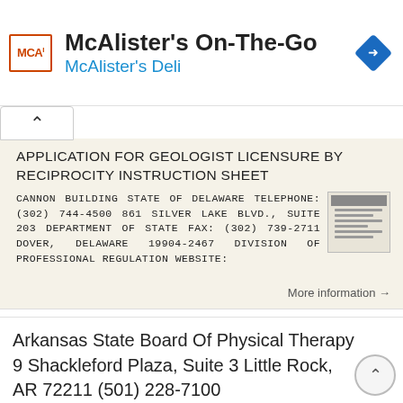McAlister's On-The-Go
McAlister's Deli
APPLICATION FOR GEOLOGIST LICENSURE BY RECIPROCITY INSTRUCTION SHEET
CANNON BUILDING STATE OF DELAWARE TELEPHONE: (302) 744-4500 861 SILVER LAKE BLVD., SUITE 203 DEPARTMENT OF STATE FAX: (302) 739-2711 DOVER, DELAWARE 19904-2467 DIVISION OF PROFESSIONAL REGULATION WEBSITE:
More information →
Arkansas State Board Of Physical Therapy 9 Shackleford Plaza, Suite 3 Little Rock, AR 72211 (501) 228-7100